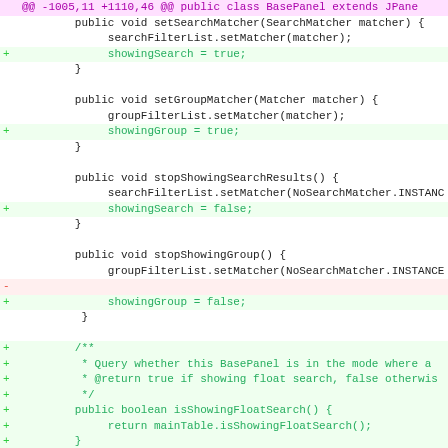[Figure (screenshot): Code diff view showing Java methods setSearchMatcher, setGroupMatcher, stopShowingSearchResults, stopShowingGroup, isShowingFloatSearch, and a partial Javadoc comment, with added lines in green and one removed line in red.]